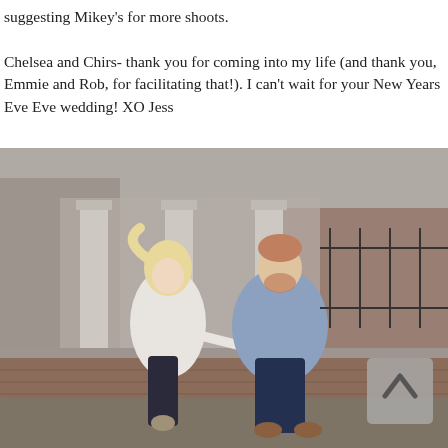suggesting Mikey's for more shoots.

Chelsea and Chirs- thank you for coming into my life (and thank you, Emmie and Rob, for facilitating that!). I can't wait for your New Years Eve Eve wedding! XO Jess
[Figure (photo): A couple sitting on a low brick wall in front of classical columns and bare winter trees. The woman has blonde hair and wears a white top with dark pants and ankle boots. The man wears a blue button-up shirt and dark jeans with brown shoes. They are looking at each other and smiling. A semi-transparent scroll-up button with a caret/chevron icon appears in the lower right of the image.]